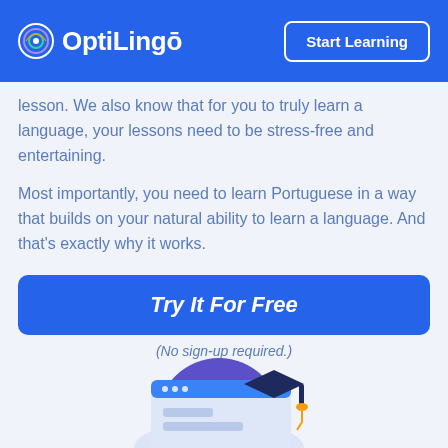OptiLingo — Start Learning
lesson. We also know that for you to truly learn a language, your lessons need to be stress-free and entertaining.
Most importantly, you need to learn Portuguese in a way that builds on your natural ability to learn a language. And that's exactly why it works.
Try It For Free
(No sign-up required.)
[Figure (illustration): Illustration of a laptop/browser window with a graduation cap, representing online learning]